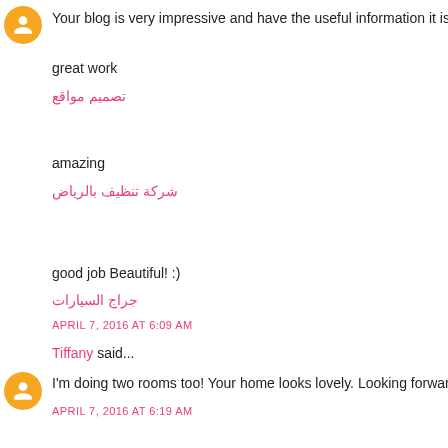Your blog is very impressive and have the useful information it is rea…
great work
تصميم مواقع
amazing
شركة تنظيف بالرياض
good job Beautiful! :)
جراج السيارات
APRIL 7, 2016 AT 6:09 AM
Tiffany said...
I'm doing two rooms too! Your home looks lovely. Looking forward to
APRIL 7, 2016 AT 6:19 AM